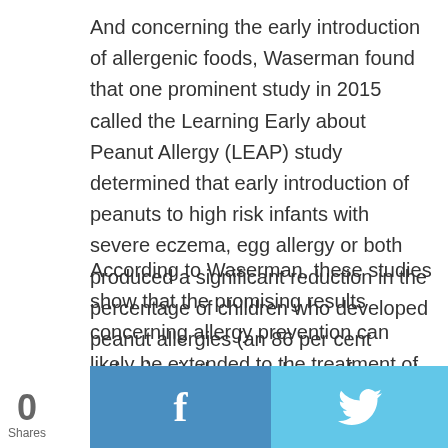And concerning the early introduction of allergenic foods, Waserman found that one prominent study in 2015 called the Learning Early about Peanut Allergy (LEAP) study determined that early introduction of peanuts to high risk infants with severe eczema, egg allergy or both produced a significant reduction in the percentage of children who developed peanut allergies (an 86 per cent reduction in the prevalence of peanut allergy).
According to Waserman, these studies show that the promising results concerning allergy prevention can likely be extended to the treatment of infantile eczema. “As we continue to find answers to the increasing prevalence of food allergy and ecz…
[Figure (other): Social share bar with 0 Shares count on the left, Facebook share button (blue) in the center, and Twitter share button (light blue) on the right.]